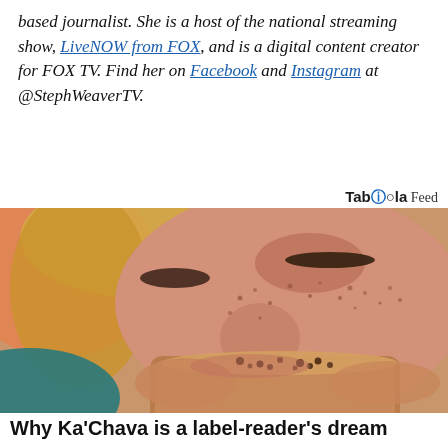based journalist. She is a host of the national streaming show, LiveNOW from FOX, and is a digital content creator for FOX TV. Find her on Facebook and Instagram at @StephWeaverTV.
Taboola Feed
[Figure (photo): Close-up of a woman with freckles and closed eyes sipping from a mug containing a beverage with cocoa sprinkles on top]
Why Ka'Chava is a label-reader's dream